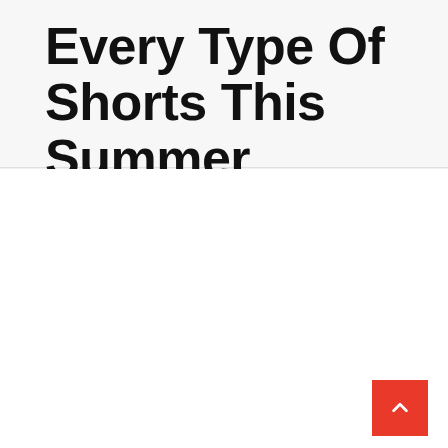Every Type Of Shorts This Summer
[Figure (other): White content area with a red scroll-to-top button in the bottom right corner containing an upward-pointing chevron arrow]